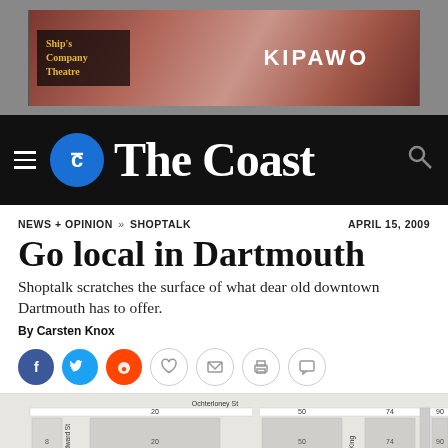[Figure (photo): Advertisement banner for Ship's Company Theatre featuring KIPAWO, with a reddish-brown background image]
[Figure (logo): The Coast navigation bar with hamburger menu, circular logo with C icon, site name 'The Coast' in white serif font on black background, and search icon]
NEWS + OPINION » SHOPTALK     APRIL 15, 2009
Go local in Dartmouth
Shoptalk scratches the surface of what dear old downtown Dartmouth has to offer.
By Carsten Knox
[Figure (infographic): Row of social sharing icons: Facebook (blue circle with f), Twitter (blue circle with bird), Reddit (orange circle with alien), heart/like (outline), email envelope (outline), print (outline), comment (outline)]
[Figure (map): Street map snippet showing Ochterloney St with building numbers 8, 20, 50, 74, 90 and street labels Edward St and King St]